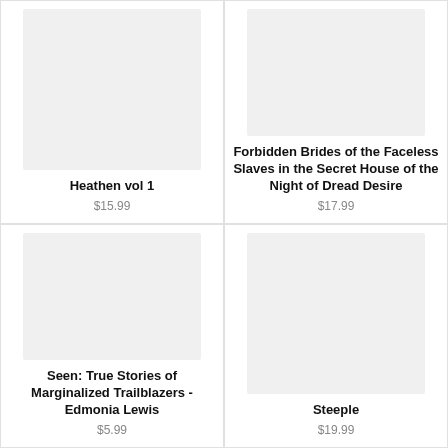[Figure (illustration): Book cover placeholder image (light gray rectangle) for Heathen vol 1]
Heathen vol 1
$15.99
[Figure (illustration): Book cover placeholder image (light gray rectangle) for Forbidden Brides of the Faceless Slaves in the Secret House of the Night of Dread Desire]
Forbidden Brides of the Faceless Slaves in the Secret House of the Night of Dread Desire
$17.99
[Figure (illustration): Book cover placeholder image (light gray rectangle) for Seen: True Stories of Marginalized Trailblazers - Edmonia Lewis]
Seen: True Stories of Marginalized Trailblazers - Edmonia Lewis
$5.99
[Figure (illustration): Book cover placeholder image (light gray rectangle) for Steeple]
Steeple
$19.99